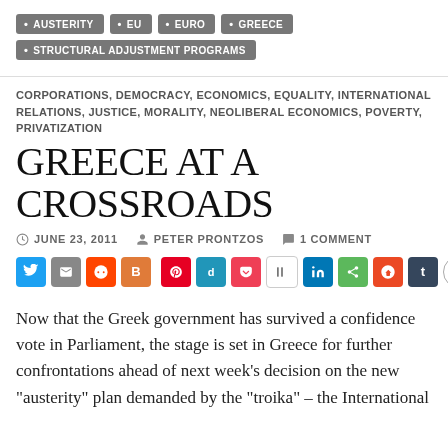AUSTERITY
EU
EURO
GREECE
STRUCTURAL ADJUSTMENT PROGRAMS
CORPORATIONS, DEMOCRACY, ECONOMICS, EQUALITY, INTERNATIONAL RELATIONS, JUSTICE, MORALITY, NEOLIBERAL ECONOMICS, POVERTY, PRIVATIZATION
GREECE AT A CROSSROADS
JUNE 23, 2011  PETER PRONTZOS  1 COMMENT
[Figure (other): Social sharing buttons row: Twitter, Email, Reddit, Blogger, Pinterest, Diigo, Pocket, Instapaper, LinkedIn, Share, StumbleUpon, Tumblr, WordPress]
Now that the Greek government has survived a confidence vote in Parliament, the stage is set in Greece for further confrontations ahead of next week's decision on the new "austerity" plan demanded by the "troika" – the International